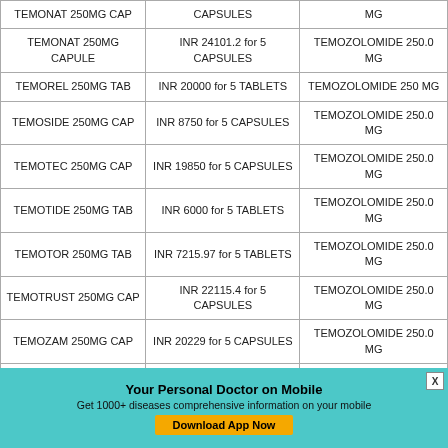| Drug Name | Price | Composition |
| --- | --- | --- |
| TEMONAT 250MG CAP | CAPSULES | MG |
| TEMONAT 250MG CAPULE | INR 24101.2 for 5 CAPSULES | TEMOZOLOMIDE 250.0 MG |
| TEMOREL 250MG TAB | INR 20000 for 5 TABLETS | TEMOZOLOMIDE 250 MG |
| TEMOSIDE 250MG CAP | INR 8750 for 5 CAPSULES | TEMOZOLOMIDE 250.0 MG |
| TEMOTEC 250MG CAP | INR 19850 for 5 CAPSULES | TEMOZOLOMIDE 250.0 MG |
| TEMOTIDE 250MG TAB | INR 6000 for 5 TABLETS | TEMOZOLOMIDE 250.0 MG |
| TEMOTOR 250MG TAB | INR 7215.97 for 5 TABLETS | TEMOZOLOMIDE 250.0 MG |
| TEMOTRUST 250MG CAP | INR 22115.4 for 5 CAPSULES | TEMOZOLOMIDE 250.0 MG |
| TEMOZAM 250MG CAP | INR 20229 for 5 CAPSULES | TEMOZOLOMIDE 250.0 MG |
| TEMZOL 250MG CAP | INR for | TEMOZOLOMIDE 250 MG |
Your Personal Doctor on Mobile
Get 1000+ diseases comprehensive information on your mobile
Download App Now